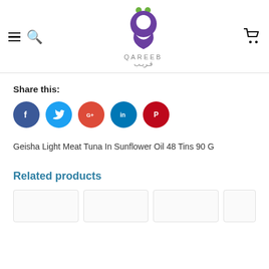[Figure (logo): Qareeb logo: purple teardrop/location pin shape with white circle, two green dots on top, text QAREEB in grey letters and Arabic text قريب below]
Share this:
[Figure (infographic): Social share buttons: Facebook (blue circle with f), Twitter (blue circle with bird), Google+ (red circle with G+), LinkedIn (teal circle with in), Pinterest (red circle with P)]
Geisha Light Meat Tuna In Sunflower Oil 48 Tins 90 G
Related products